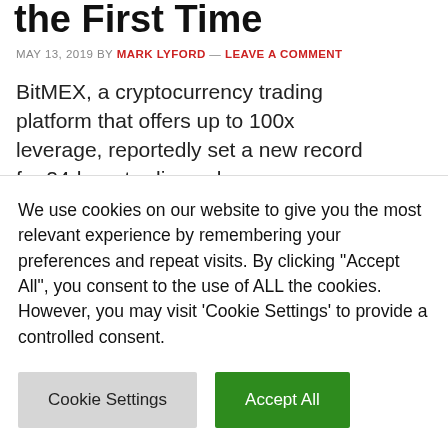the First Time
MAY 13, 2019 BY MARK LYFORD — LEAVE A COMMENT
BitMEX, a cryptocurrency trading platform that offers up to 100x leverage, reportedly set a new record for 24-hour trading volume on Saturday — surpassing $ 10 billion for the first time. New record for BitMEX trading volume. Praise be to volatility and our wonderful traders! pic.twitter.com/iLMGdpz65n — Arthur Hayes (@CryptoHayes) May 11,
We use cookies on our website to give you the most relevant experience by remembering your preferences and repeat visits. By clicking "Accept All", you consent to the use of ALL the cookies. However, you may visit 'Cookie Settings' to provide a controlled consent.